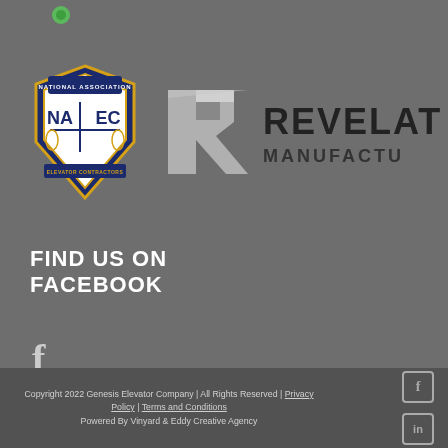[Figure (logo): Small green circle/dot icon at top left]
[Figure (logo): NAEC (National Association of Elevator Contractors) shield logo with blue and gold colors]
[Figure (logo): Revelation Manufacturing logo with silver R icon and dark text, partially cropped on right]
FIND US ON FACEBOOK
[Figure (logo): Facebook 'f' icon in light gray]
Copyright 2022 Genesis Elevator Company | All Rights Reserved | Privacy Policy | Terms and Conditions
Powered By Vinyard & Eddy Creative Agency